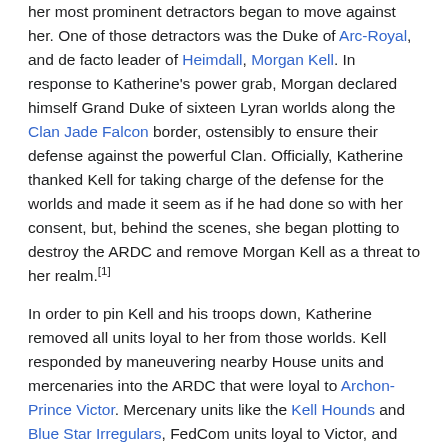her most prominent detractors began to move against her. One of those detractors was the Duke of Arc-Royal, and de facto leader of Heimdall, Morgan Kell. In response to Katherine's power grab, Morgan declared himself Grand Duke of sixteen Lyran worlds along the Clan Jade Falcon border, ostensibly to ensure their defense against the powerful Clan. Officially, Katherine thanked Kell for taking charge of the defense for the worlds and made it seem as if he had done so with her consent, but, behind the scenes, she began plotting to destroy the ARDC and remove Morgan Kell as a threat to her realm.[1]
In order to pin Kell and his troops down, Katherine removed all units loyal to her from those worlds. Kell responded by maneuvering nearby House units and mercenaries into the ARDC that were loyal to Archon-Prince Victor. Mercenary units like the Kell Hounds and Blue Star Irregulars, FedCom units loyal to Victor, and Clan Wolf-in-Exile formed the bulwark against Clan Jade Falcon. Kell's precaution against the Falcons proved justified when the Jade Falcons launched their invasion in 3058 that reached as far as Coventry, though they came at an angle that bypassed the ARDC.